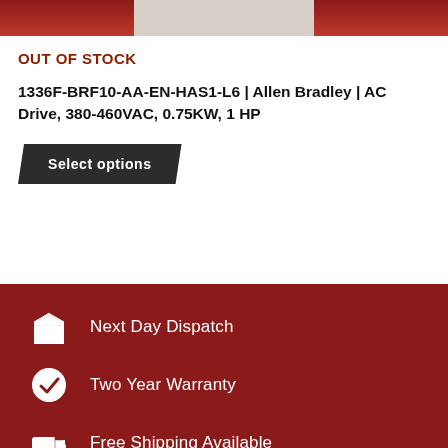[Figure (photo): Product image strip showing Allen Bradley AC Drive, partial view with dark red and light gray colors]
OUT OF STOCK
1336F-BRF10-AA-EN-HAS1-L6 | Allen Bradley | AC Drive, 380-460VAC, 0.75KW, 1 HP
Select options
Next Day Dispatch
Two Year Warranty
Free Shipping Available
Quick Links